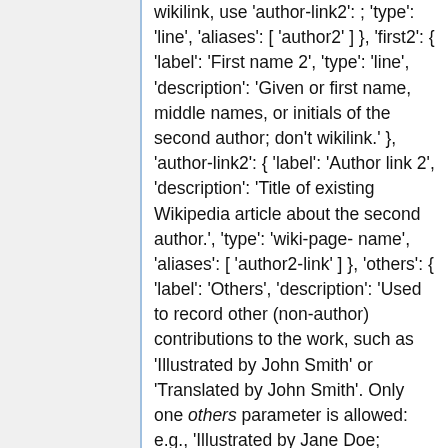wikilink, use 'author-link2': ; 'type': 'line', 'aliases': [ 'author2' ] }, 'first2': { 'label': 'First name 2', 'type': 'line', 'description': 'Given or first name, middle names, or initials of the second author; don't wikilink.' }, 'author-link2': { 'label': 'Author link 2', 'description': 'Title of existing Wikipedia article about the second author.', 'type': 'wiki-page-name', 'aliases': [ 'author2-link' ] }, 'others': { 'label': 'Others', 'description': 'Used to record other (non-author) contributions to the work, such as 'Illustrated by John Smith' or 'Translated by John Smith'. Only one others parameter is allowed: e.g., 'Illustrated by Jane Doe; Translated by John Smith'', 'type': 'string' }, 'year': { 'label': 'Year of publication', 'description': 'Year of the source being referenced; deprecated in favor of 'date', except for the special